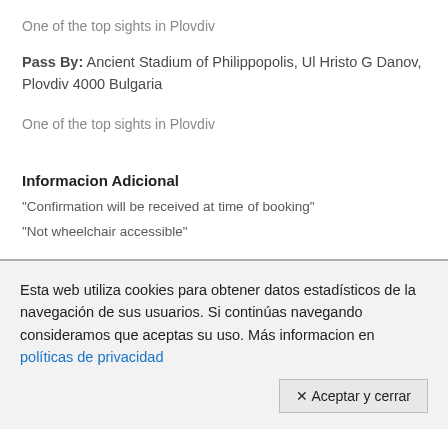One of the top sights in Plovdiv
Pass By: Ancient Stadium of Philippopolis, Ul Hristo G Danov, Plovdiv 4000 Bulgaria
One of the top sights in Plovdiv
Informacion Adicional
"Confirmation will be received at time of booking"
"Not wheelchair accessible"
Esta web utiliza cookies para obtener datos estadísticos de la navegación de sus usuarios. Si continúas navegando consideramos que aceptas su uso. Más informacion en políticas de privacidad
✕ Aceptar y cerrar